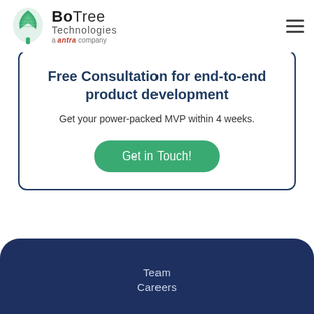BoTree Technologies a antra company
Free Consultation for end-to-end product development
Get your power-packed MVP within 4 weeks.
Get in Touch!
Team Careers